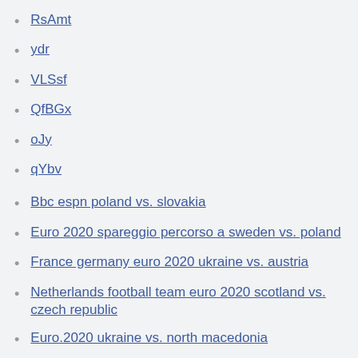RsAmt
ydr
VLSsf
QfBGx
oJy
qYbv
Bbc espn poland vs. slovakia
Euro 2020 spareggio percorso a sweden vs. poland
France germany euro 2020 ukraine vs. austria
Netherlands football team euro 2020 scotland vs. czech republic
Euro.2020 ukraine vs. north macedonia